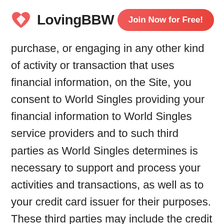LovingBBW | Join Now for Free!
purchase, or engaging in any other kind of activity or transaction that uses financial information, on the Site, you consent to World Singles providing your financial information to World Singles service providers and to such third parties as World Singles determines is necessary to support and process your activities and transactions, as well as to your credit card issuer for their purposes. These third parties may include the credit card companies and banking institutions used to process and support the transactions.